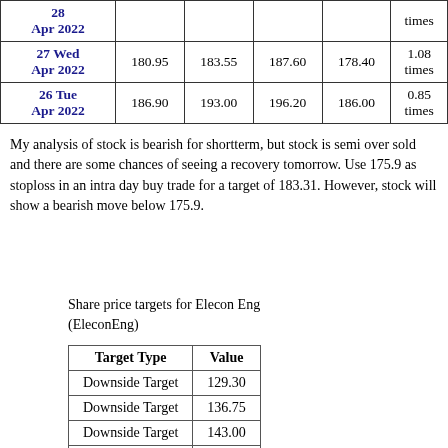| Date |  | Open | High | Low | Volume |
| --- | --- | --- | --- | --- | --- |
| 28 Apr 2022 |  |  |  |  | times |
| 27 Wed Apr 2022 | 180.95 | 183.55 | 187.60 | 178.40 | 1.08 times |
| 26 Tue Apr 2022 | 186.90 | 193.00 | 196.20 | 186.00 | 0.85 times |
My analysis of stock is bearish for shortterm, but stock is semi over sold and there are some chances of seeing a recovery tomorrow. Use 175.9 as stoploss in an intra day buy trade for a target of 183.31. However, stock will show a bearish move below 175.9.
Share price targets for Elecon Eng (EleconEng)
| Target Type | Value |
| --- | --- |
| Downside Target | 129.30 |
| Downside Target | 136.75 |
| Downside Target | 143.00 |
| Downside Target | 158.80 |
| Downside Target | 163.25 |